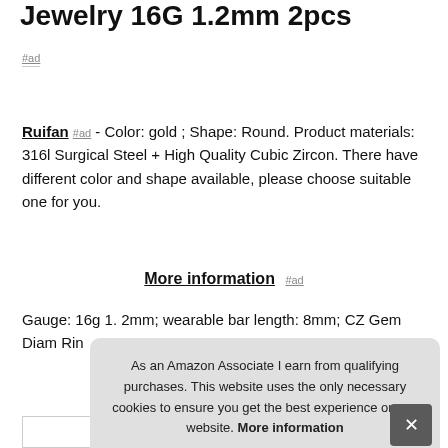Jewelry 16G 1.2mm 2pcs
#ad
Ruifan #ad - Color: gold ; Shape: Round. Product materials: 316l Surgical Steel + High Quality Cubic Zircon. There have different color and shape available, please choose suitable one for you.
More information #ad
Gauge: 16g 1. 2mm; wearable bar length: 8mm; CZ Gem Diameter: Ring
As an Amazon Associate I earn from qualifying purchases. This website uses the only necessary cookies to ensure you get the best experience on our website. More information